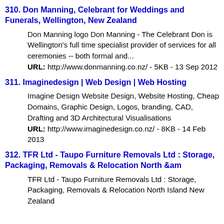310. Don Manning, Celebrant for Weddings and Funerals, Wellington, New Zealand
Don Manning logo Don Manning - The Celebrant Don is Wellington's full time specialist provider of services for all ceremonies -- both formal and...
URL: http://www.donmanning.co.nz/ - 5KB - 13 Sep 2012
311. Imaginedesign | Web Design | Web Hosting
Imagine Design Website Design, Website Hosting, Cheap Domains, Graphic Design, Logos, branding, CAD, Drafting and 3D Architectural Visualisations
URL: http://www.imaginedesign.co.nz/ - 8KB - 14 Feb 2013
312. TFR Ltd - Taupo Furniture Removals Ltd : Storage, Packaging, Removals & Relocation North &am
TFR Ltd - Taupo Furniture Removals Ltd : Storage, Packaging, Removals & Relocation North Island New Zealand